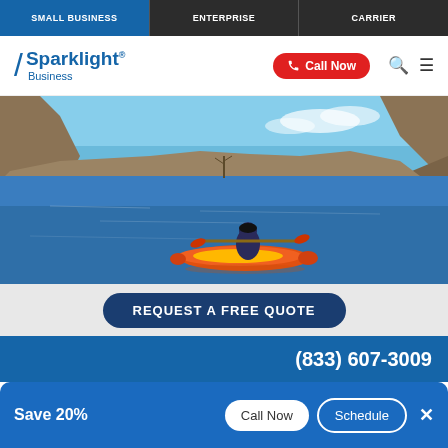SMALL BUSINESS | ENTERPRISE | CARRIER
[Figure (logo): Sparklight Business logo with blue slash mark and wordmark]
[Figure (photo): Person kayaking in a red and yellow kayak on a calm river surrounded by rocky cliffs and a blue sky]
REQUEST A FREE QUOTE
(833) 607-3009
Save 20%  Call Now  Schedule  ×